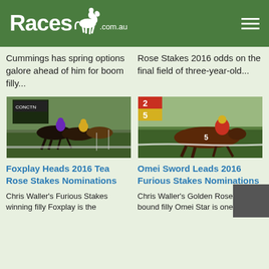Races .com.au
Cummings has spring options galore ahead of him for boom filly...
Rose Stakes 2016 odds on the final field of three-year-old...
[Figure (photo): Horse race photo showing multiple horses competing]
[Figure (photo): Horse race photo showing horse number 5 leading]
Foxplay Heads 2016 Tea Rose Stakes Nominations
Omei Sword Leads 2016 Furious Stakes Nominations
Chris Waller's Furious Stakes winning filly Foxplay is the
Chris Waller's Golden Rose Stakes-bound filly Omei Star is one